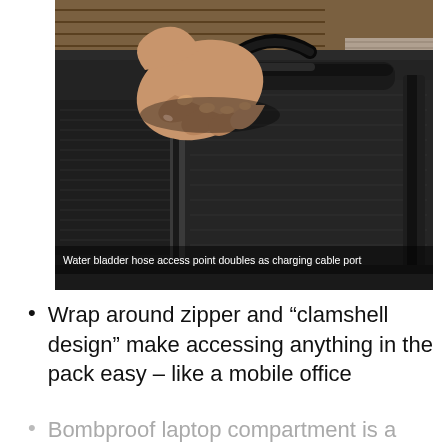[Figure (photo): A hand holding the top handle of a black backpack, showing the wrap-around zipper and fabric detail. Background shows wooden decking and foliage. An overlay caption reads: Water bladder hose access point doubles as charging cable port]
Water bladder hose access point doubles as charging cable port
Wrap around zipper and “clamshell design” make accessing anything in the pack easy – like a mobile office
Bombproof laptop compartment is a